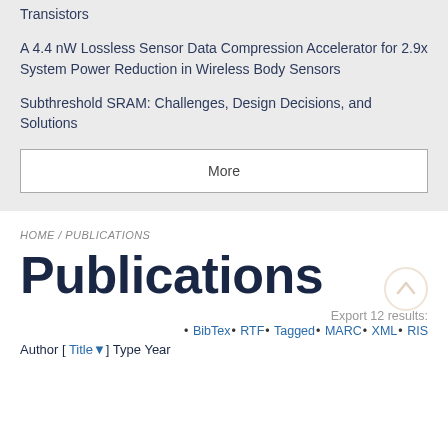Transistors
A 4.4 nW Lossless Sensor Data Compression Accelerator for 2.9x System Power Reduction in Wireless Body Sensors
Subthreshold SRAM: Challenges, Design Decisions, and Solutions
More
HOME / PUBLICATIONS
Publications
Export 12 results:
BibTex • RTF • Tagged • MARC • XML • RIS
Author [ Title▼] Type Year